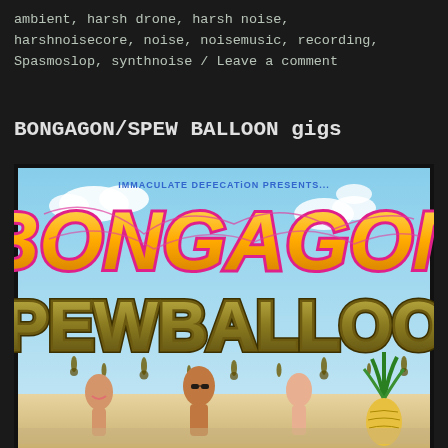ambient, harsh drone, harsh noise, harshnoisecore, noise, noisemusic, recording, Spasmoslop, synthnoise / Leave a comment
BONGAGON/SPEW BALLOON gigs
[Figure (illustration): Event poster for BONGAGON / SPEW BALLOON presented by Immaculate Defecation. Orange graffiti-style lettering spells BONGAGON at the top, and brown slimy bubble-letter text spells SPEW BALLOON below it. Background shows a sunny beach sky. People in swimwear visible at the bottom of the poster along with a pineapple plant.]